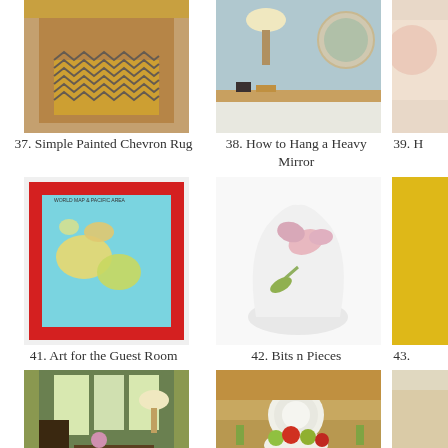[Figure (photo): Chevron painted rug on kitchen hardwood floor near wood cabinets]
37. Simple Painted Chevron Rug
[Figure (photo): Entryway console table with lamp and round mirror on wall]
38. How to Hang a Heavy Mirror
[Figure (photo): Partially visible image item 39]
39. H…
[Figure (photo): Framed world map with red frame, colorful geographic map]
41. Art for the Guest Room
[Figure (photo): Close-up of white ceramic vase with pink flower relief decoration]
42. Bits n Pieces
[Figure (photo): Partially visible yellow item 43]
43.
[Figure (photo): Dining room with green walls, large windows, lamp and dark furniture]
[Figure (photo): Tablescape with plates, fruit bowl, apples and green glassware]